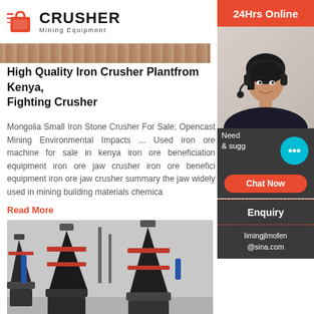CRUSHER Mining Equipment
[Figure (photo): Partial top image strip of mining/industrial scene]
High Quality Iron Crusher Plantfrom Kenya, Fighting Crusher
Mongolia Small Iron Stone Crusher For Sale; Opencast Mining Environmental Impacts ... Used iron ore machine for sale in kenya iron ore beneficiation equipment iron ore jaw crusher iron ore beneficiation equipment iron ore jaw crusher summary the jaw widely used in mining building materials chemica
Read More
[Figure (photo): Industrial crushing machines (cone/gyratory crushers) in a factory or plant setting, dark grey equipment with red accents]
Crushers For Sale IronPlanet